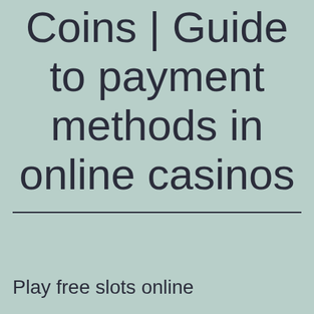Coins | Guide to payment methods in online casinos
Play free slots online